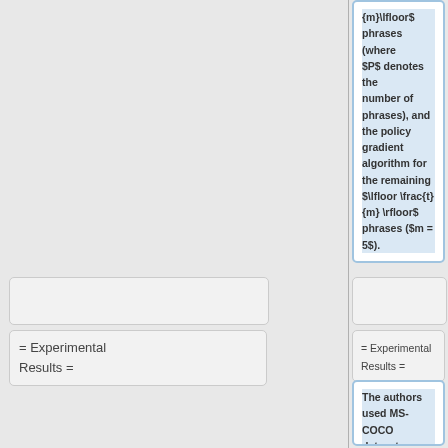{m}\lfloor$ phrases (where $P$ denotes the number of phrases), and the policy gradient algorithm for the remaining $\lfloor \frac{t}{m} \rfloor$ phrases ($m = 5$).
= Experimental Results =
= Experimental Results =
The authors used MS-COCO dataset. COCO is a large-scale object